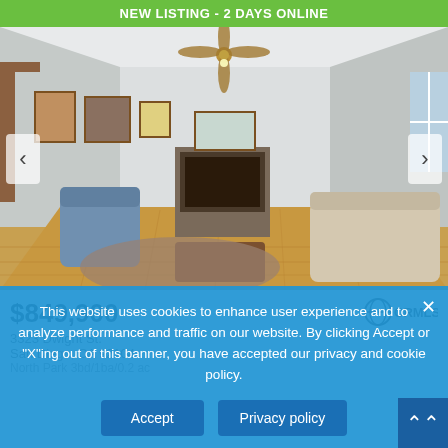NEW LISTING - 2 DAYS ONLINE
[Figure (photo): Interior photo of a living room with hardwood floors, a ceiling fan, armchairs, a sofa, a fireplace, and framed art on the walls. Navigation arrows on left and right sides.]
$849,900
CRMLS
3323 Dwight St.
San Diego, CA 92104
North Park 3bd/1ba/0.2 ac
This website uses cookies to enhance user experience and to analyze performance and traffic on our website. By clicking Accept or "X"ing out of this banner, you have accepted our privacy and cookie policy.
Accept
Privacy policy